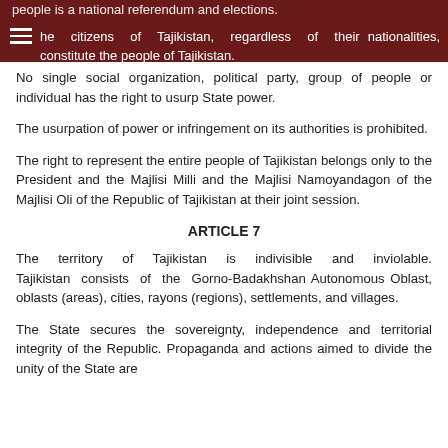people is a national referendum and elections. The citizens of Tajikistan, regardless of their nationalities, constitute the people of Tajikistan.
No single social organization, political party, group of people or individual has the right to usurp State power.
The usurpation of power or infringement on its authorities is prohibited.
The right to represent the entire people of Tajikistan belongs only to the President and the Majlisi Milli and the Majlisi Namoyandagon of the Majlisi Oli of the Republic of Tajikistan at their joint session.
ARTICLE 7
The territory of Tajikistan is indivisible and inviolable. Tajikistan consists of the Gorno-Badakhshan Autonomous Oblast, oblasts (areas), cities, rayons (regions), settlements, and villages.
The State secures the sovereignty, independence and territorial integrity of the Republic. Propaganda and actions aimed to divide the unity of the State are